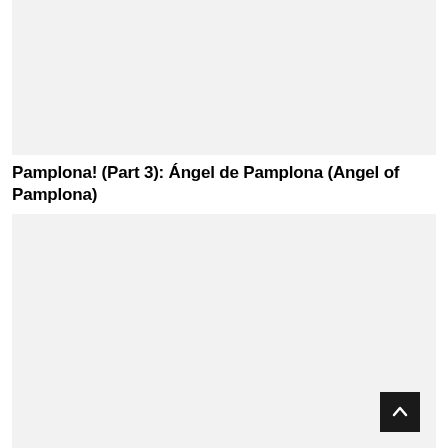[Figure (photo): Top image placeholder with light gray background]
Pamplona! (Part 3): Ángel de Pamplona (Angel of Pamplona)
[Figure (photo): Bottom image placeholder with light gray background]